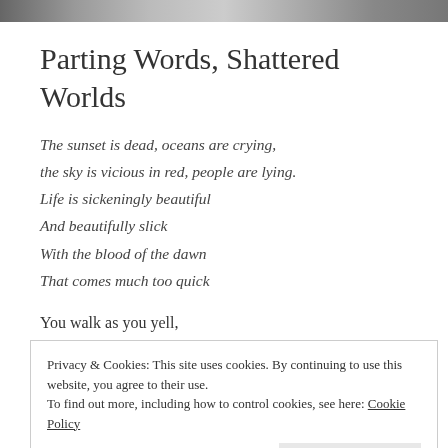[header image strip]
Parting Words, Shattered Worlds
The sunset is dead, oceans are crying,
the sky is vicious in red, people are lying.
Life is sickeningly beautiful
And beautifully slick
With the blood of the dawn
That comes much too quick
You walk as you yell,
Privacy & Cookies: This site uses cookies. By continuing to use this website, you agree to their use.
To find out more, including how to control cookies, see here: Cookie Policy
Close and accept
Has it all been so lost, so long